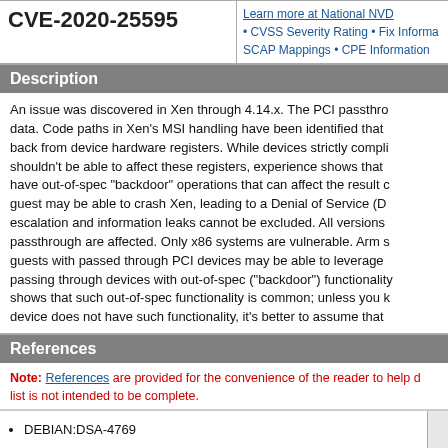CVE-2020-25595
Learn more at National NVD. CVSS Severity Rating • Fix Information • SCAP Mappings • CPE Information
Description
An issue was discovered in Xen through 4.14.x. The PCI passthrough data. Code paths in Xen's MSI handling have been identified that back from device hardware registers. While devices strictly complying shouldn't be able to affect these registers, experience shows that have out-of-spec "backdoor" operations that can affect the result of guest may be able to crash Xen, leading to a Denial of Service (D escalation and information leaks cannot be excluded. All versions passthrough are affected. Only x86 systems are vulnerable. Arm s guests with passed through PCI devices may be able to leverage passing through devices with out-of-spec ("backdoor") functionality shows that such out-of-spec functionality is common; unless you know device does not have such functionality, it's better to assume that
References
Note: References are provided for the convenience of the reader to help determine whether the list is not intended to be complete.
DEBIAN:DSA-4769
URL:https://www.debian.org/security/2020/dsa-4769
FEDORA:FEDORA-2020-306b84fd07
URL:https://lists.fedoraproject.org/archives/list/package-announce@lists.fedoraproject.org/message/4JRXMKEMO